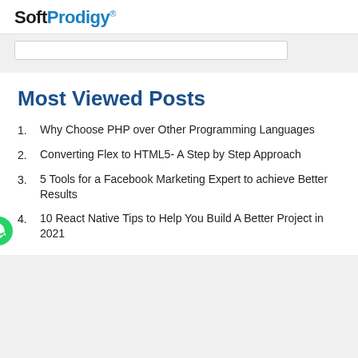SoftProdigy®
Most Viewed Posts
Why Choose PHP over Other Programming Languages
Converting Flex to HTML5- A Step by Step Approach
5 Tools for a Facebook Marketing Expert to achieve Better Results
10 React Native Tips to Help You Build A Better Project in 2021